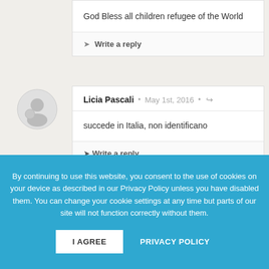God Bless all children refugee of the World
Write a reply
Licia Pascali · May 1st, 2016 · 🔗
succede in Italia, non identificano
Write a reply
By continuing to use this website, you consent to the use of cookies on your device as described in our Privacy Policy unless you have disabled them. You can change your cookie settings at any time but parts of our site will not function correctly without them.
I AGREE
PRIVACY POLICY